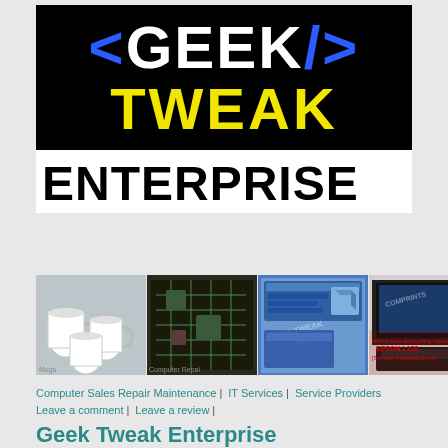[Figure (logo): Geek Tweak Enterprise logo: black background with '<GEEK/>' in white and blue, 'TWEAK' in yellow, and 'ENTERPRISE' in black on white below]
[Figure (photo): Collage of four images: printed mugs, computer motherboard/hardware, software UI screenshots, and an Epson L120 printer with service required error notice]
Computer Sales Repair Maintenance | IT Services | Service Providers Leave a comment | Leave a review |
Geek Tweak Enterprise